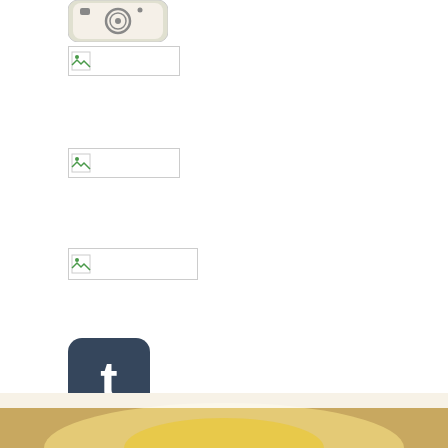[Figure (logo): Instagram app icon - rounded square with camera image]
[Figure (photo): Broken image placeholder 1 - small icon with border]
[Figure (photo): Broken image placeholder 2 - small icon with border]
[Figure (photo): Broken image placeholder 3 - small icon with border]
[Figure (logo): Tumblr app icon - dark blue rounded square with white lowercase t]
Ayu P.//SMC Editor
4月 27, 2015  Shanghai Metal Corporation  asia News
我们 Cookie我们使用了 Cookie来改善您的上网体验。继续使用本网站即表示您同意我们使用 Cookie。 了解更多关于 Cookie 的信息请访问我们的 Cookie 政策
接受所有Cookie